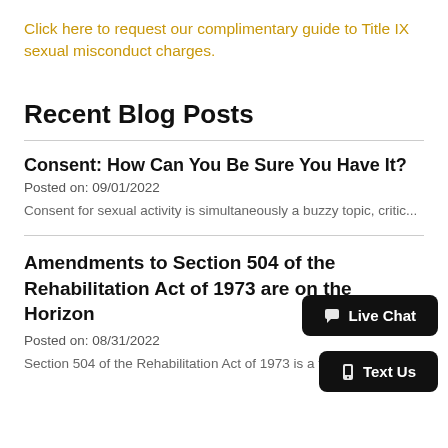Click here to request our complimentary guide to Title IX sexual misconduct charges.
Recent Blog Posts
Consent: How Can You Be Sure You Have It?
Posted on: 09/01/2022
Consent for sexual activity is simultaneously a buzzy topic, critic...
Amendments to Section 504 of the Rehabilitation Act of 1973 are on the Horizon
Posted on: 08/31/2022
Section 504 of the Rehabilitation Act of 1973 is a forty-five-year-